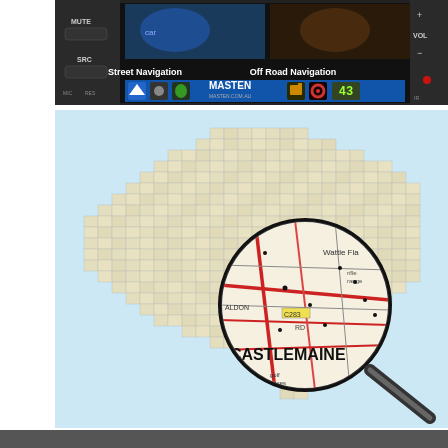[Figure (screenshot): Car head unit / navigation device screen showing Street Navigation and Off Road Navigation options, with MASTEN branding and navigation icons. Buttons on the side include MUTE, SRC, VOL, MIC, RES.]
[Figure (infographic): Map of Australia made up of topographic map tiles grid. A magnifying glass zooms into a detailed road map showing CASTLEMAINE with roads, Wattle Flat, golf courses, and surrounding areas. The magnifying glass handle points to lower right.]